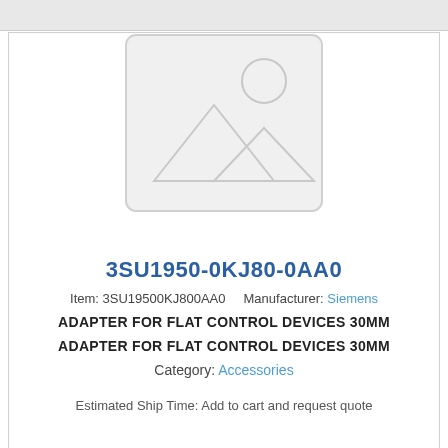[Figure (illustration): Placeholder image with mountain and sun icon indicating no product photo available]
3SU1950-0KJ80-0AA0
Item: 3SU19500KJ800AA0    Manufacturer: Siemens
ADAPTER FOR FLAT CONTROL DEVICES 30MM
ADAPTER FOR FLAT CONTROL DEVICES 30MM
Category: Accessories
Estimated Ship Time: Add to cart and request quote